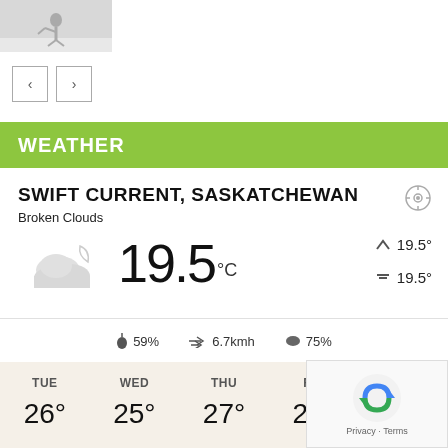[Figure (photo): Hockey player skating on ice, black and white photo]
[Figure (other): Navigation left and right arrow buttons]
WEATHER
SWIFT CURRENT, SASKATCHEWAN
Broken Clouds
[Figure (other): Broken clouds with moon weather icon, temperature 19.5°C, high 19.5°, low 19.5°]
59%  6.7kmh  75%
| TUE | WED | THU | FRI | SAT |
| --- | --- | --- | --- | --- |
| 26° | 25° | 27° | 26° |  |